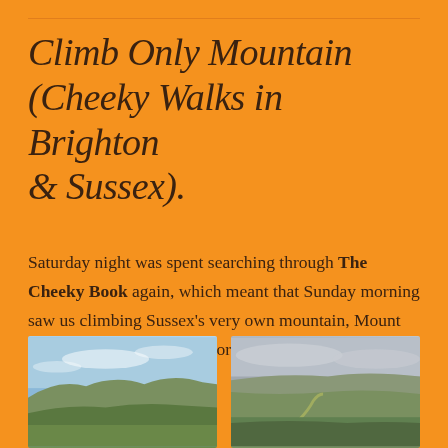Climb Only Mountain (Cheeky Walks in Brighton & Sussex).
Saturday night was spent searching through The Cheeky Book again, which meant that Sunday morning saw us climbing Sussex's very own mountain, Mount Caburn- old Iron Age territory – near Lewes in East Sussex.
[Figure (photo): Landscape photo showing rolling green hills and valleys under a partly cloudy blue sky, likely the Sussex South Downs near Mount Caburn]
[Figure (photo): Aerial landscape photo showing a wide green valley with fields, a winding river or road, and distant hills under an overcast sky, likely the view from Mount Caburn near Lewes]